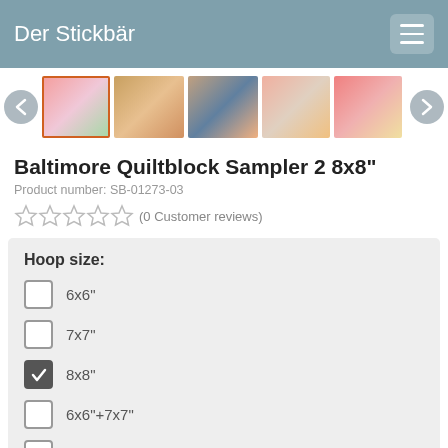Der Stickbär
[Figure (photo): Row of 5 product thumbnail images with left/right navigation arrows]
Baltimore Quiltblock Sampler 2 8x8"
Product number: SB-01273-03
(0 Customer reviews)
Hoop size:
6x6"
7x7"
8x8" (checked)
6x6"+7x7"
6x6"+8x8"
7x7"+8x8"
6x6"+7x7"+8x8" (partially visible)